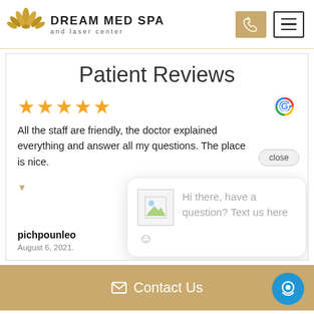[Figure (logo): Dream Med Spa and Laser Center logo with gold lotus flower icon and text]
Patient Reviews
[Figure (infographic): Five gold stars rating with Google G logo]
All the staff are friendly, the doctor explained everything and answer all my questions. The place is nice.
close
pichpounleo
August 6, 2021.
[Figure (screenshot): Chat popup with avatar image and text: Hi there, have a question? Text us here with smiley face emoji]
Contact Us
[Figure (infographic): Blue circular chat/speech bubble floating action button]